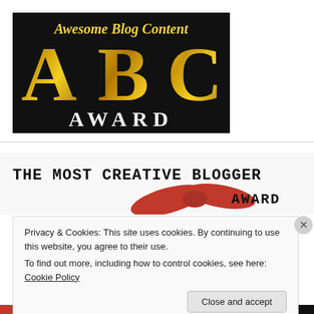[Figure (illustration): ABC Award badge — gold metallic letters A, B, C on black background with 'Awesome Blog Content' script text above and 'AWARD' in bold serif below]
[Figure (illustration): The Most Creative Blogger Award image — dark handwritten-style text 'THE MOST CREATIVE BLOGGER' with a red ribbon bow graphic and 'AWARD' text]
Privacy & Cookies: This site uses cookies. By continuing to use this website, you agree to their use.
To find out more, including how to control cookies, see here: Cookie Policy
Close and accept